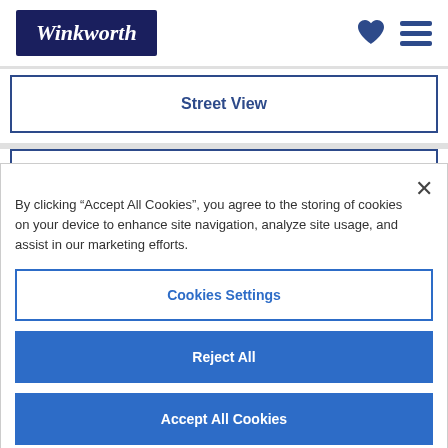Winkworth
Street View
By clicking “Accept All Cookies”, you agree to the storing of cookies on your device to enhance site navigation, analyze site usage, and assist in our marketing efforts.
Cookies Settings
Reject All
Accept All Cookies